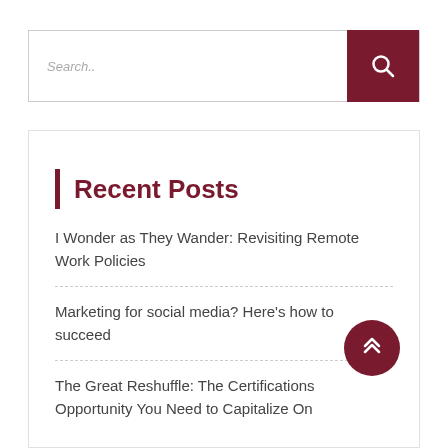[Figure (screenshot): Search bar with placeholder text 'Search..' and a dark red search button with magnifying glass icon]
Recent Posts
I Wonder as They Wander: Revisiting Remote Work Policies
Marketing for social media? Here's how to succeed
The Great Reshuffle: The Certifications Opportunity You Need to Capitalize On